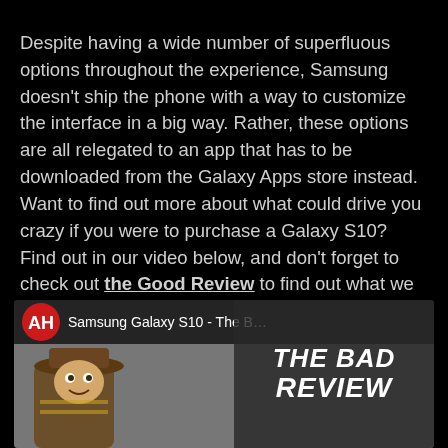Despite having a wide number of superfluous options throughout the experience, Samsung doesn't ship the phone with a way to customize the interface in a big way. Rather, these options are all relegated to an app that has to be downloaded from the Galaxy Apps store instead. Want to find out more about what could drive you crazy if you were to purchase a Galaxy S10? Find out in our video below, and don't forget to check out the Good Review to find out what we loved about the Galaxy S10 as well!
[Figure (screenshot): YouTube-style video thumbnail showing Samsung Galaxy S10 - The Bad Review, with AH logo, video title bar, and 'THE BAD REVIEW' overlay text on right side]